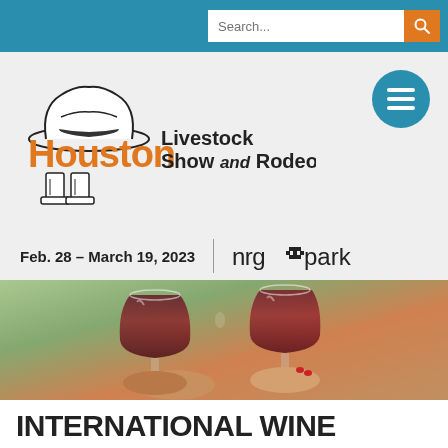Search...
[Figure (logo): Houston Livestock Show and Rodeo logo with cowboy hat and boots illustration. Orange 'Houston' text with black 'Livestock Show and Rodeo' text.]
Feb. 28 – March 19, 2023   |   nrg ✦ park
[Figure (photo): Two people clinking wine glasses filled with red wine, hands visible in foreground, blurred background.]
INTERNATIONAL WINE COMPETITION